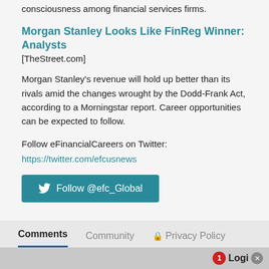consciousness among financial services firms.
Morgan Stanley Looks Like FinReg Winner: Analysts
[TheStreet.com]
Morgan Stanley's revenue will hold up better than its rivals amid the changes wrought by the Dodd-Frank Act, according to a Morningstar report. Career opportunities can be expected to follow.
Follow eFinancialCareers on Twitter:
https://twitter.com/efcusnews
[Figure (other): Teal button with Twitter bird icon and text 'Follow @efc_Global']
Comments   Community   Privacy Policy